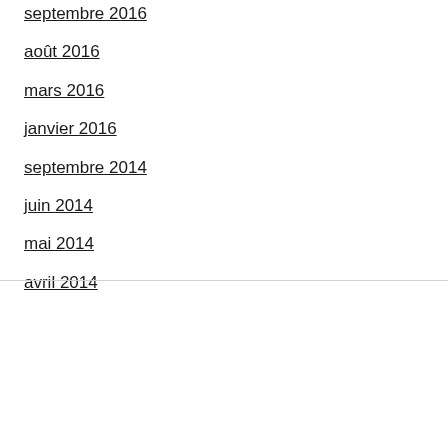septembre 2016
août 2016
mars 2016
janvier 2016
septembre 2014
juin 2014
mai 2014
avril 2014
We use cookies on our website to give you the most relevant experience by remembering your preferences and repeat visits. By clicking “Accept All”, you consent to the use of ALL the cookies. However, you may visit "Cookie Settings" to provide a controlled consent.